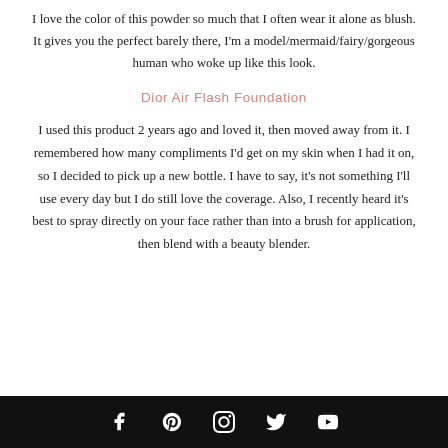I love the color of this powder so much that I often wear it alone as blush. It gives you the perfect barely there, I'm a model/mermaid/fairy/gorgeous human who woke up like this look.
Dior Air Flash Foundation
I used this product 2 years ago and loved it, then moved away from it. I remembered how many compliments I'd get on my skin when I had it on, so I decided to pick up a new bottle. I have to say, it's not something I'll use every day but I do still love the coverage. Also, I recently heard it's best to spray directly on your face rather than into a brush for application, then blend with a beauty blender.
Social media icons: Facebook, Pinterest, Instagram, Twitter, YouTube